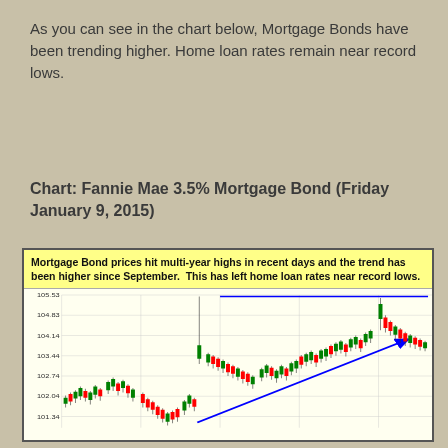As you can see in the chart below, Mortgage Bonds have been trending higher. Home loan rates remain near record lows.
Chart: Fannie Mae 3.5% Mortgage Bond (Friday January 9, 2015)
[Figure (continuous-plot): Candlestick chart of Fannie Mae 3.5% Mortgage Bond showing price action trending higher since September with multi-year highs. Y-axis shows price levels from 101.34 to 105.53. Blue horizontal resistance line near 105.53. Blue diagonal uptrend arrow from lower left to upper right.]